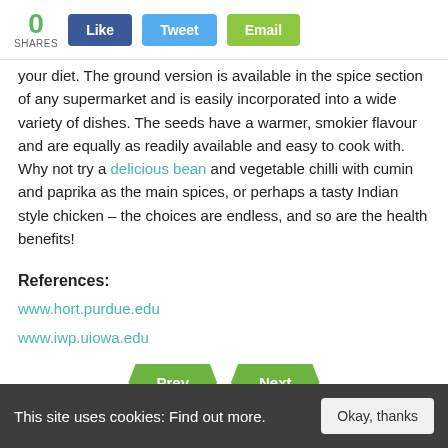[Figure (other): Social share bar with count 0, Like button, Tweet button, Email button]
your diet. The ground version is available in the spice section of any supermarket and is easily incorporated into a wide variety of dishes. The seeds have a warmer, smokier flavour and are equally as readily available and easy to cook with. Why not try a delicious bean and vegetable chilli with cumin and paprika as the main spices, or perhaps a tasty Indian style chicken – the choices are endless, and so are the health benefits!
References:
www.hort.purdue.edu
www.iwp.uiowa.edu
[Figure (other): Prev and Next navigation buttons]
This site uses cookies: Find out more.